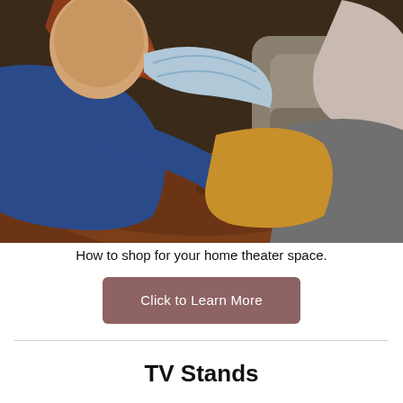[Figure (photo): Two people sitting on dark brown leather sofa; person in blue denim shirt in foreground, another person in mustard/tan pants in background, warm cozy home theater setting]
How to shop for your home theater space.
Click to Learn More
TV Stands